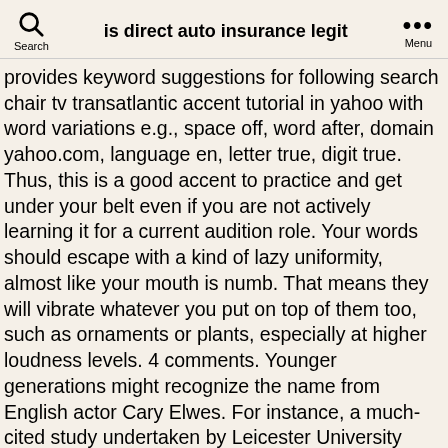Search | is direct auto insurance legit | Menu
provides keyword suggestions for following search chair tv transatlantic accent tutorial in yahoo with word variations e.g., space off, word after, domain yahoo.com, language en, letter true, digit true. Thus, this is a good accent to practice and get under your belt even if you are not actively learning it for a current audition role. Your words should escape with a kind of lazy uniformity, almost like your mouth is numb. That means they will vibrate whatever you put on top of them too, such as ornaments or plants, especially at higher loudness levels. 4 comments. Younger generations might recognize the name from English actor Cary Elwes. For instance, a much-cited study undertaken by Leicester University found that the use of music in brand identity made it 96% more likely that brands would be remembered. For a more authentic delivery, let your "o" sounds trail off a little ("Ow-uh"). Think tank-ul românesc New Strategy Center și Fundația pentru Cercetare Economică, Politică și